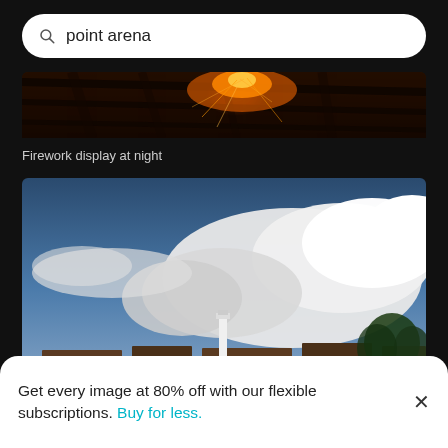point arena
[Figure (photo): Firework display at night — orange sparks glowing against a dark wooden ceiling/roof structure]
Firework display at night
[Figure (photo): Outdoor photo looking up at a dramatic partly cloudy blue sky; a lighthouse visible in the lower center distance, trees on the right, a person's head silhouetted at bottom]
Get every image at 80% off with our flexible subscriptions. Buy for less.